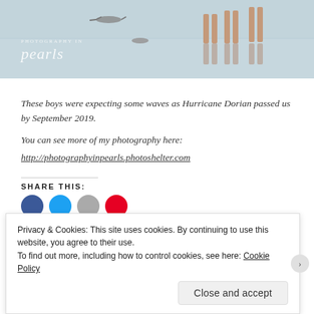[Figure (photo): Beach photo showing children's legs and birds on wet sand with reflections, with 'pearls' photography logo overlay]
These boys were expecting some waves as Hurricane Dorian passed us by September 2019.
You can see more of my photography here:
http://photographyinpearls.photoshelter.com
SHARE THIS:
Privacy & Cookies: This site uses cookies. By continuing to use this website, you agree to their use.
To find out more, including how to control cookies, see here: Cookie Policy